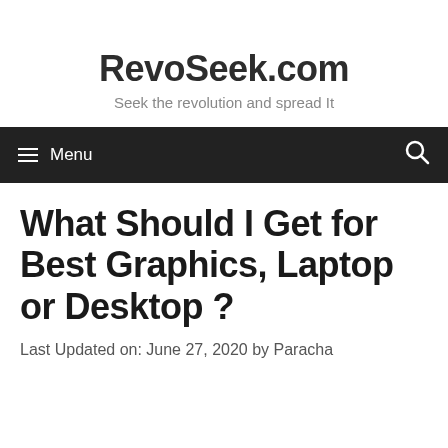RevoSeek.com
Seek the revolution and spread It
≡ Menu
What Should I Get for Best Graphics, Laptop or Desktop ?
Last Updated on: June 27, 2020 by Paracha